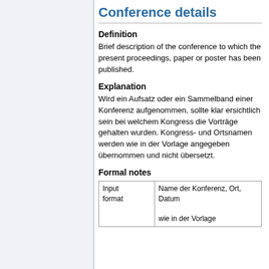Conference details
Definition
Brief description of the conference to which the present proceedings, paper or poster has been published.
Explanation
Wird ein Aufsatz oder ein Sammelband einer Konferenz aufgenommen, sollte klar ersichtlich sein bei welchem Kongress die Vorträge gehalten wurden. Kongress- und Ortsnamen werden wie in der Vorlage angegeben übernommen und nicht übersetzt.
Formal notes
| Input format | Name der Konferenz, Ort, Datum
wie in der Vorlage |